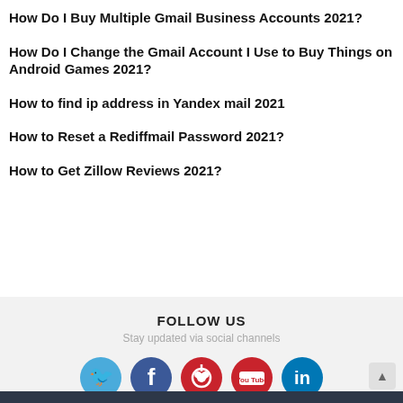How Do I Buy Multiple Gmail Business Accounts 2021?
How Do I Change the Gmail Account I Use to Buy Things on Android Games 2021?
How to find ip address in Yandex mail 2021
How to Reset a Rediffmail Password 2021?
How to Get Zillow Reviews 2021?
FOLLOW US
Stay updated via social channels
[Figure (infographic): Social media icons: Twitter (blue), Facebook (dark blue), Pinterest (red), YouTube (red), LinkedIn (blue)]